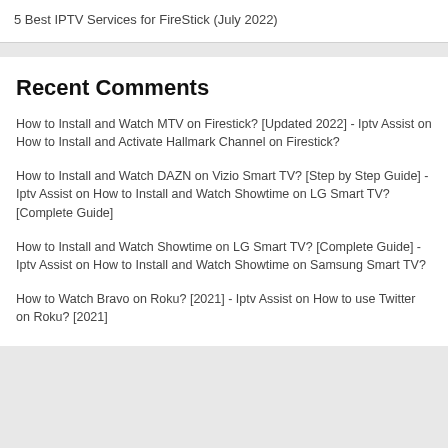5 Best IPTV Services for FireStick (July 2022)
Recent Comments
How to Install and Watch MTV on Firestick? [Updated 2022] - Iptv Assist on How to Install and Activate Hallmark Channel on Firestick?
How to Install and Watch DAZN on Vizio Smart TV? [Step by Step Guide] - Iptv Assist on How to Install and Watch Showtime on LG Smart TV? [Complete Guide]
How to Install and Watch Showtime on LG Smart TV? [Complete Guide] - Iptv Assist on How to Install and Watch Showtime on Samsung Smart TV?
How to Watch Bravo on Roku? [2021] - Iptv Assist on How to use Twitter on Roku? [2021]